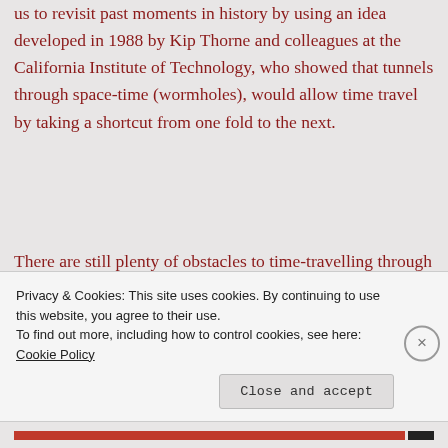us to revisit past moments in history by using an idea developed in 1988 by Kip Thorne and colleagues at the California Institute of Technology, who showed that tunnels through space-time (wormholes), would allow time travel by taking a shortcut from one fold to the next.
There are still plenty of obstacles to time-travelling through wormholes. Not least is the fact that the only wormholes we can possibly make
Privacy & Cookies: This site uses cookies. By continuing to use this website, you agree to their use.
To find out more, including how to control cookies, see here: Cookie Policy
Close and accept